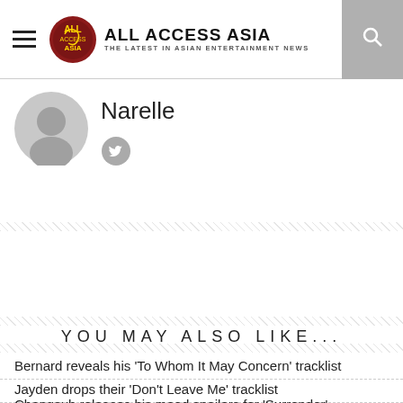ALL ACCESS ASIA — THE LATEST IN ASIAN ENTERTAINMENT NEWS
Narelle
← Previous Story
ATEEZ are excited about coming to Australia
Next Story →
SMASH! Sydney Manga & Anime Show is coming soon
YOU MAY ALSO LIKE...
Bernard reveals his 'To Whom It May Concern' tracklist
Jayden drops their 'Don't Leave Me' tracklist
Changsub releases his mood spoilers for 'Surrender'